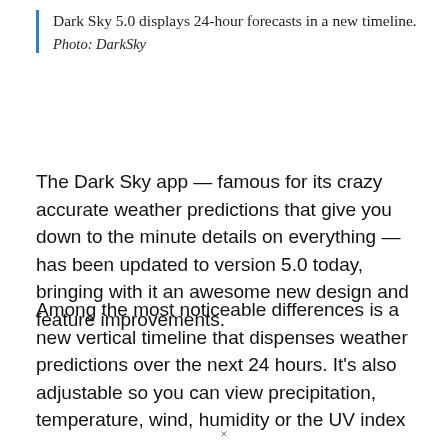Dark Sky 5.0 displays 24-hour forecasts in a new timeline.
Photo: DarkSky
The Dark Sky app — famous for its crazy accurate weather predictions that give you down to the minute details on everything — has been updated to version 5.0 today, bringing with it an awesome new design and feature improvements.
Among the most noticeable differences is a new vertical timeline that dispenses weather predictions over the next 24 hours. It's also adjustable so you can view precipitation, temperature, wind, humidity or the UV index